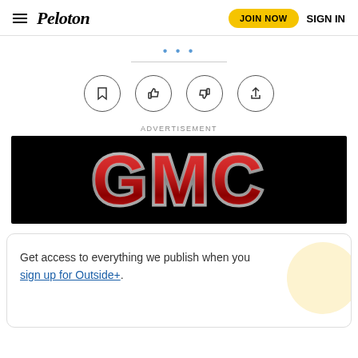Peloton — JOIN NOW  SIGN IN
[Figure (other): Four circular icon buttons: bookmark, thumbs up, thumbs down, share]
ADVERTISEMENT
[Figure (logo): GMC logo in red chrome letters on black background]
Get access to everything we publish when you sign up for Outside+.